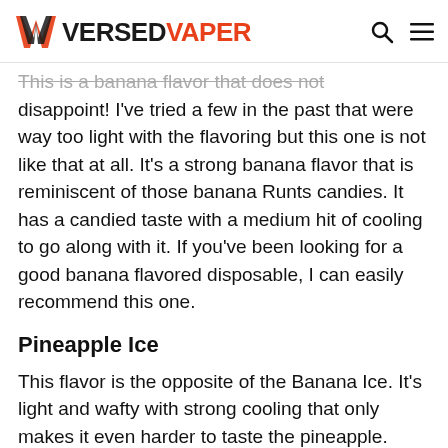VERSED VAPER
This is a banana flavor that does not disappoint! I've tried a few in the past that were way too light with the flavoring but this one is not like that at all. It's a strong banana flavor that is reminiscent of those banana Runts candies. It has a candied taste with a medium hit of cooling to go along with it. If you've been looking for a good banana flavored disposable, I can easily recommend this one.
Pineapple Ice
This flavor is the opposite of the Banana Ice. It's light and wafty with strong cooling that only makes it even harder to taste the pineapple. While I can taste it, it's barely there and I have to really concentrate to make out